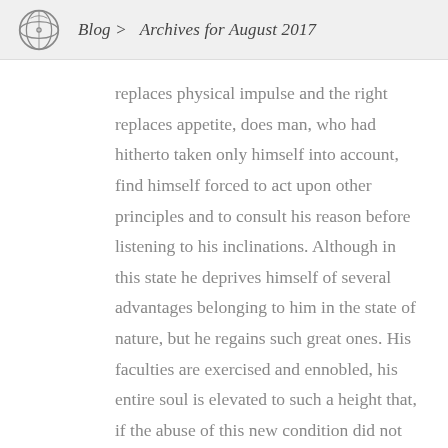Blog > Archives for August 2017
replaces physical impulse and the right replaces appetite, does man, who had hitherto taken only himself into account, find himself forced to act upon other principles and to consult his reason before listening to his inclinations. Although in this state he deprives himself of several advantages belonging to him in the state of nature, but he regains such great ones. His faculties are exercised and ennobled, his entire soul is elevated to such a height that, if the abuse of this new condition did not often lower his status to beneath the level he left, he ought constantly to bless the happy moment that pulled him away from it forever and which transformed him from